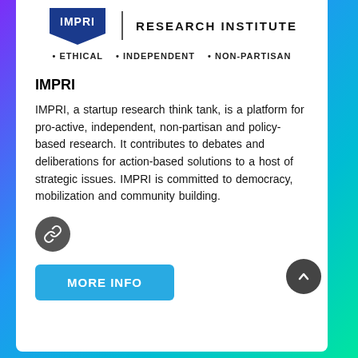[Figure (logo): IMPRI Research Institute logo with blue shield shape and text, with 'RESEARCH INSTITUTE' text and tagline '• ETHICAL • INDEPENDENT • NON-PARTISAN']
IMPRI
IMPRI, a startup research think tank, is a platform for pro-active, independent, non-partisan and policy-based research. It contributes to debates and deliberations for action-based solutions to a host of strategic issues. IMPRI is committed to democracy, mobilization and community building.
[Figure (illustration): Link/chain icon in a dark circle button]
MORE INFO